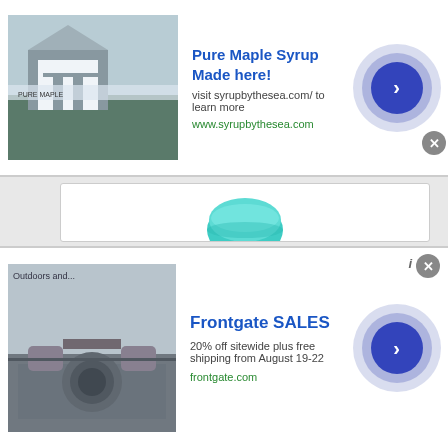[Figure (screenshot): Top advertisement banner: Pure Maple Syrup Made here! with snowy cabin image and navigation arrow button]
Pure Maple Syrup Made here!
visit syrupbythesea.com/ to learn more
www.syrupbythesea.com
[Figure (photo): Teal/turquoise bowl product image]
OTOTO Nessie Ladle Spoon -Turquoise Cooking Ladle for Serving Soup, Stew, Gravy & Chili - High Heat Resistant Loch Ness Stand Up Soup Ladle
[Figure (logo): Amazon Prime logo badge]
VIEW PRODUCT
[Figure (screenshot): Bottom advertisement banner: Frontgate SALES with patio furniture image and navigation arrow button]
Frontgate SALES
20% off sitewide plus free shipping from August 19-22
frontgate.com